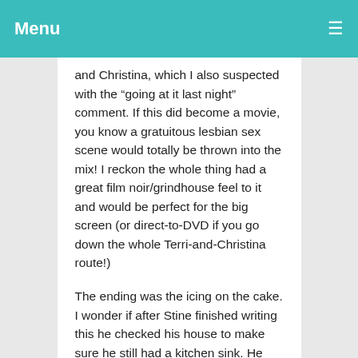Menu
and Christina, which I also suspected with the “going at it last night” comment. If this did become a movie, you know a gratuitous lesbian sex scene would totally be thrown into the mix! I reckon the whole thing had a great film noir/grindhouse feel to it and would be perfect for the big screen (or direct-to-DVD if you go down the whole Terri-and-Christina route!)
The ending was the icing on the cake. I wonder if after Stine finished writing this he checked his house to make sure he still had a kitchen sink. He threw everything else into it! Fun, fast-paced and